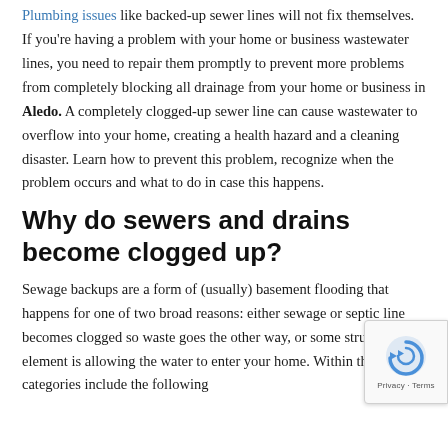Plumbing issues like backed-up sewer lines will not fix themselves. If you're having a problem with your home or business wastewater lines, you need to repair them promptly to prevent more problems from completely blocking all drainage from your home or business in Aledo. A completely clogged-up sewer line can cause wastewater to overflow into your home, creating a health hazard and a cleaning disaster. Learn how to prevent this problem, recognize when the problem occurs and what to do in case this happens.
Why do sewers and drains become clogged up?
Sewage backups are a form of (usually) basement flooding that happens for one of two broad reasons: either sewage or septic line becomes clogged so waste goes the other way, or some structural element is allowing the water to enter your home. Within these two categories include the following